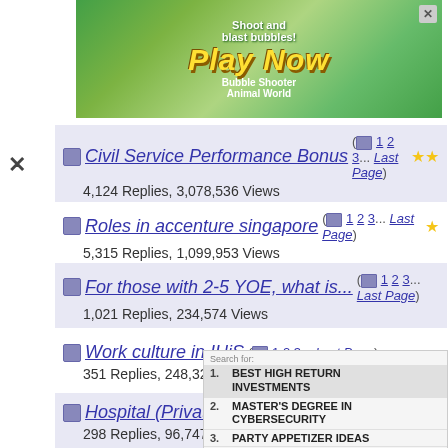[Figure (screenshot): Advertisement banner - colorful bubble shooter game ad with 'Play Now' text and animal characters]
Civil Service Performance Bonus ( 1 2 3... Last Page ) 4,124 Replies, 3,078,536 Views
Roles in accenture singapore ( 1 2 3... Last Page ) 5,315 Replies, 1,099,953 Views
For those with 2-5 YOE, what is... ( 1 2 3... Last Page ) 1,021 Replies, 234,574 Views
Work culture in IHiS ( 1 2 3... Last Page ) 351 Replies, 248,323 Views
Hospital (Private or Public)... ( 1 2 3... L... ) 298 Replies, 96,747 Views
CA or CFA 1 Replies, 145 Views
Anyone work in JPM/GS/Morgan... ( 1 2 3... Last Page ) 171 Replies, 54,458 Views
[Figure (screenshot): Sidebar advertisement showing search results: 1. Best High Return Investments, 2. Master's Degree in Cybersecurity, 3. Party Appetizer Ideas, 4. Watch Live Streaming, 5. Top Stocks to Buy — Business Focus branding]